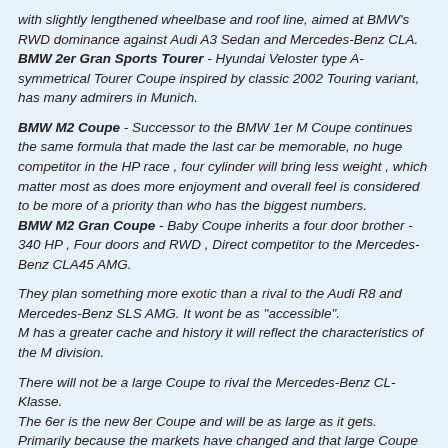with slightly lengthened wheelbase and roof line, aimed at BMW's RWD dominance against Audi A3 Sedan and Mercedes-Benz CLA.
BMW 2er Gran Sports Tourer - Hyundai Veloster type A-symmetrical Tourer Coupe inspired by classic 2002 Touring variant, has many admirers in Munich.
BMW M2 Coupe - Successor to the BMW 1er M Coupe continues the same formula that made the last car be memorable, no huge competitor in the HP race , four cylinder will bring less weight , which matter most as does more enjoyment and overall feel is considered to be more of a priority than who has the biggest numbers.
BMW M2 Gran Coupe - Baby Coupe inherits a four door brother - 340 HP , Four doors and RWD , Direct competitor to the Mercedes-Benz CLA45 AMG.
They plan something more exotic than a rival to the Audi R8 and Mercedes-Benz SLS AMG. It wont be as "accessible". M has a greater cache and history it will reflect the characteristics of the M division.
There will not be a large Coupe to rival the Mercedes-Benz CL-Klasse. The 6er is the new 8er Coupe and will be as large as it gets. Primarily because the markets have changed and that large Coupe owners need extra space and flexibility